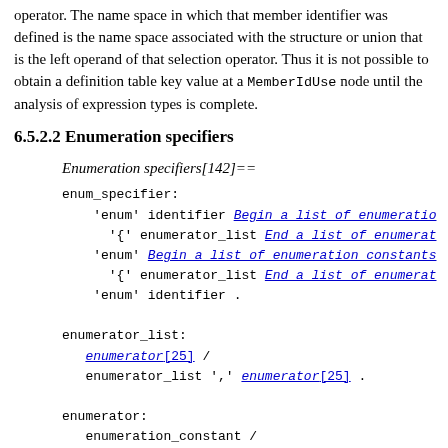operator. The name space in which that member identifier was defined is the name space associated with the structure or union that is the left operand of that selection operator. Thus it is not possible to obtain a definition table key value at a MemberIdUse node until the analysis of expression types is complete.
6.5.2.2 Enumeration specifiers
Enumeration specifiers[142]==
enum_specifier:
    'enum' identifier Begin a list of enumeration...
      '{' enumerator_list End a list of enumerat...
    'enum' Begin a list of enumeration constants...
      '{' enumerator_list End a list of enumerat...
    'enum' identifier .

enumerator_list:
   enumerator[25] /
   enumerator_list ',' enumerator[25] .

enumerator:
   enumeration_constant /
   enumeration_constant '=' constant_expression
This macro is invoked in definition 134.
The identifiers in an enumerator list are declared as constants that